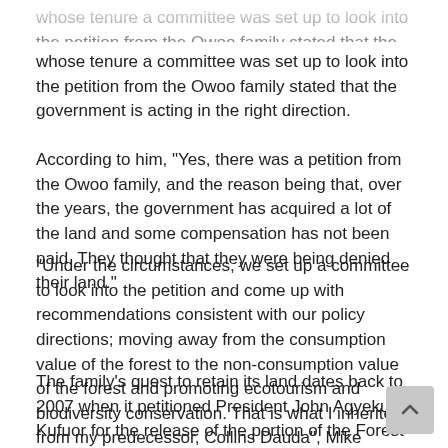whose tenure a committee was set up to look into the petition from the Owoo family stated that the government is acting in the right direction.
According to him, "Yes, there was a petition from the Owoo family, and the reason being that, over the years, the government has acquired a lot of the land and some compensation has not been paid. They thought that they were being denied their land."
"Under the circumstances, we set up a committee to look into the petition and come up with recommendations consistent with our policy directions; moving away from the consumption value of the forest to the non-consumption value of the forest and promoting ecotourism and biodiversity conservation. That is what I inherited from my predecessor, Collins Dauda", Mike Hammah told Accra based Citi FM.
The family's quest to retain its land dates back to 2007 when it petitioned President John Agyekum Kufuor for the release of the portion of the Forest Reserve adjoining the Tema motorway.